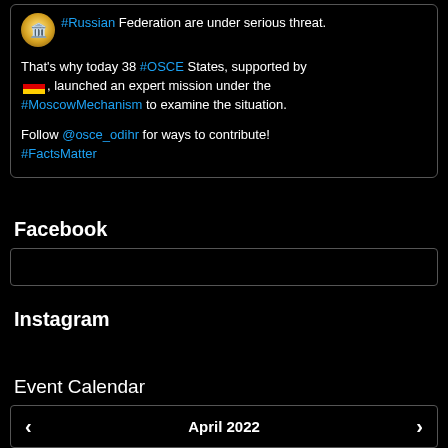[Figure (screenshot): Tweet screenshot showing text about OSCE Moscow Mechanism with hashtags and mentions]
Facebook
[Figure (screenshot): Empty Facebook embed box]
Instagram
Event Calendar
[Figure (other): Calendar navigation showing April 2022 with left and right arrows]